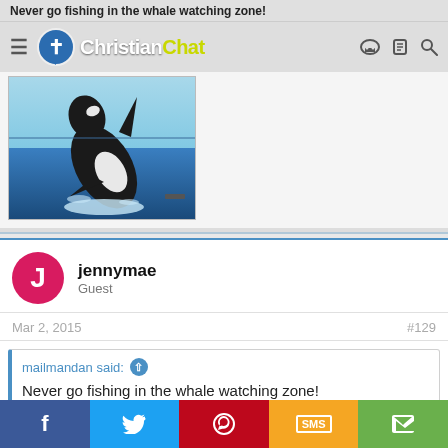Never go fishing in the whale watching zone!
Christian Chat
[Figure (photo): A large whale (orca) breaching out of the ocean water with a small boat visible in the background]
jennymae
Guest
Mar 2, 2015  #129
mailmandan said: ↑
Never go fishing in the whale watching zone!
View attachment 88584
f  🐦  P  SMS  <